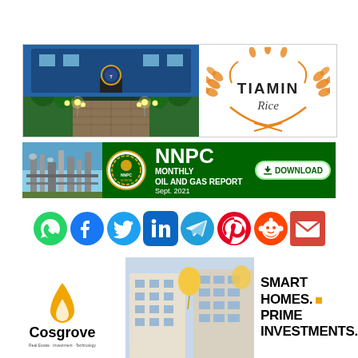[Figure (photo): Night view of a garden/facility entrance with lights and greenery, showing a circular logo/sign in the center]
[Figure (logo): Tiamin Rice logo with orange wheat wreath surrounding the text TIAMIN Rice]
[Figure (infographic): NNPC Monthly Oil and Gas Report September 2021 banner with green background, industrial refinery image, NNPC circular logo, and Download button]
[Figure (infographic): Row of social media icons: WhatsApp, Facebook, Twitter, LinkedIn, Telegram, Pinterest, Reddit, Email]
[Figure (logo): Cosgrove real estate logo with orange flame/house icon]
[Figure (photo): Photo of a multi-story apartment building with yellow balloon decorations]
SMART HOMES. PRIME INVESTMENTS.